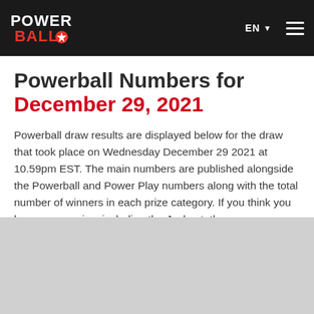Powerball logo | EN ▼ | Menu
Powerball Numbers for December 29, 2021
Powerball draw results are displayed below for the draw that took place on Wednesday December 29 2021 at 10.59pm EST. The main numbers are published alongside the Powerball and Power Play numbers along with the total number of winners in each prize category. If you think you have won a prize, including the Jackpot, then use our Number Checker to find out how many balls you matched and what prize to expect.